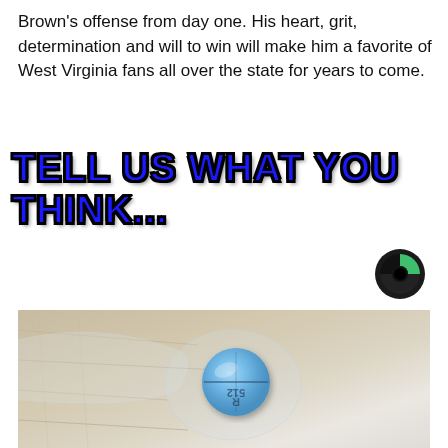Brown's offense from day one. His heart, grit, determination and will to win will make him a favorite of West Virginia fans all over the state for years to come.
TELL US WHAT YOU THINK...
[Figure (logo): Circular logo with green and dark segments]
[Figure (photo): A blue round pill with '512' imprinted on it, sitting in a clear blister pack on a white furry surface]